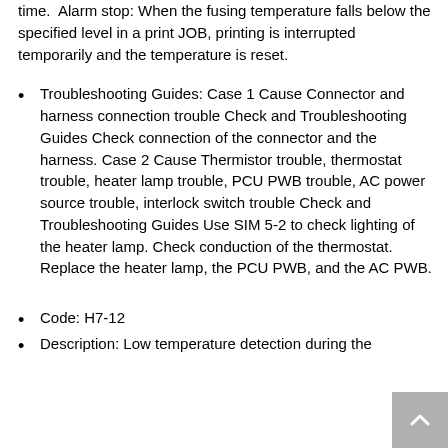time. Alarm stop: When the fusing temperature falls below the specified level in a print JOB, printing is interrupted temporarily and the temperature is reset.
Troubleshooting Guides: Case 1 Cause Connector and harness connection trouble Check and Troubleshooting Guides Check connection of the connector and the harness. Case 2 Cause Thermistor trouble, thermostat trouble, heater lamp trouble, PCU PWB trouble, AC power source trouble, interlock switch trouble Check and Troubleshooting Guides Use SIM 5-2 to check lighting of the heater lamp. Check conduction of the thermostat. Replace the heater lamp, the PCU PWB, and the AC PWB.
Code: H7-12
Description: Low temperature detection during the